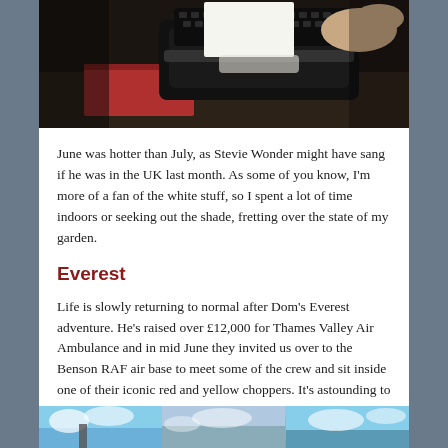[Figure (photo): Black vintage typewriter with hands typing on it, red notebook visible in background, dark moody tones]
June was hotter than July, as Stevie Wonder might have sang if he was in the UK last month. As some of you know, I'm more of a fan of the white stuff, so I spent a lot of time indoors or seeking out the shade, fretting over the state of my garden.
Everest
Life is slowly returning to normal after Dom's Everest adventure. He's raised over £12,000 for Thames Valley Air Ambulance and in mid June they invited us over to the Benson RAF air base to meet some of the crew and sit inside one of their iconic red and yellow choppers. It's astounding to discover that they are completely funded by public donations.
[Figure (photo): Three small thumbnail photos at bottom showing blue sky scenes]